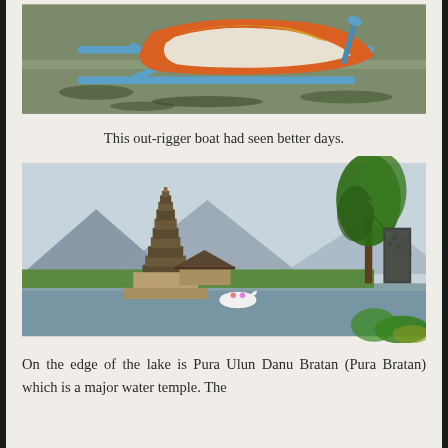[Figure (photo): An orange and blue outrigger boat floating on murky water with aquatic vegetation visible around it.]
This out-rigger boat had seen better days.
[Figure (photo): Pura Ulun Danu Bratan water temple on the edge of a lake, with tiered pagoda-style towers, thatched pavilions, lush green trees, a swan-shaped paddle boat on the water, and mountains in the background.]
On the edge of the lake is Pura Ulun Danu Bratan (Pura Bratan) which is a major water temple.  The